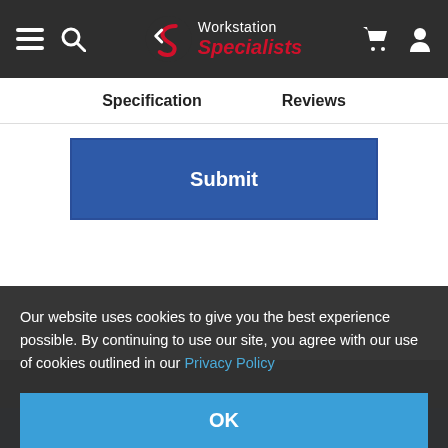Workstation Specialists — navigation header with menu, search, logo, cart, user icons
Specification   Reviews
Submit
Our website uses cookies to give you the best experience possible. By continuing to use our site, you agree with our use of cookies outlined in our Privacy Policy
OK
Newsletter Sign up
SUBSCRIBE